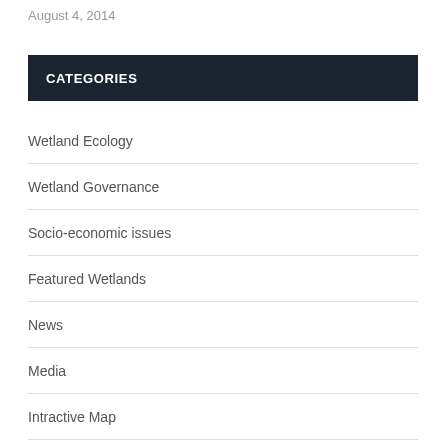August 4, 2014
CATEGORIES
Wetland Ecology
Wetland Governance
Socio-economic issues
Featured Wetlands
News
Media
Intractive Map